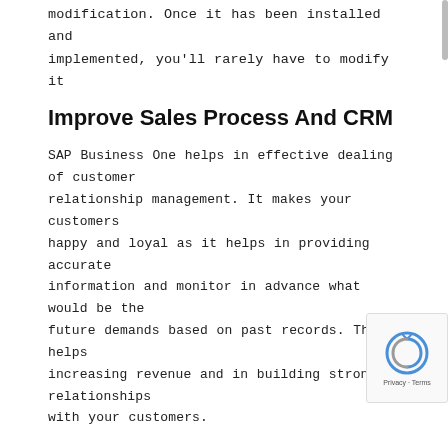modification. Once it has been installed and implemented, you'll rarely have to modify it
Improve Sales Process And CRM
SAP Business One helps in effective dealing of customer relationship management. It makes your customers happy and loyal as it helps in providing accurate information and monitor in advance what would be the future demands based on past records. This helps increasing revenue and in building strong relationships with your customers.
Get more information about the product and its support by scheduling a demonstration with us
More from my site
[Figure (photo): SAP Business One product thumbnail with blue background]
[Figure (photo): BTC cloud logo thumbnail]
[Figure (photo): Phone/device thumbnail with dark background]